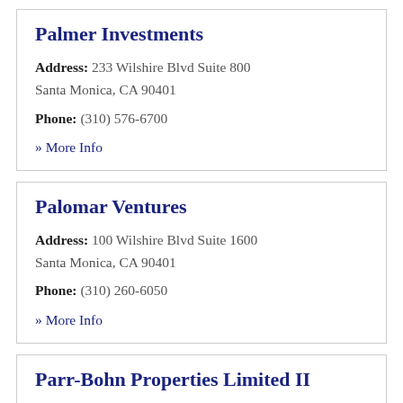Palmer Investments
Address: 233 Wilshire Blvd Suite 800 Santa Monica, CA 90401
Phone: (310) 576-6700
» More Info
Palomar Ventures
Address: 100 Wilshire Blvd Suite 1600 Santa Monica, CA 90401
Phone: (310) 260-6050
» More Info
Parr-Bohn Properties Limited II